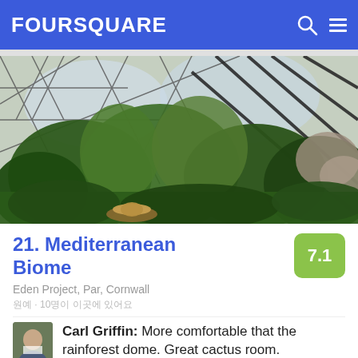FOURSQUARE
[Figure (photo): Interior of a geodesic dome biome with large green tropical trees, metal lattice framework, and a person wearing a straw hat in the foreground]
21. Mediterranean Biome
7.1
Eden Project, Par, Cornwall
원예 · 10명이 이곳에 있어요
Carl Griffin: More comfortable that the rainforest dome. Great cactus room.